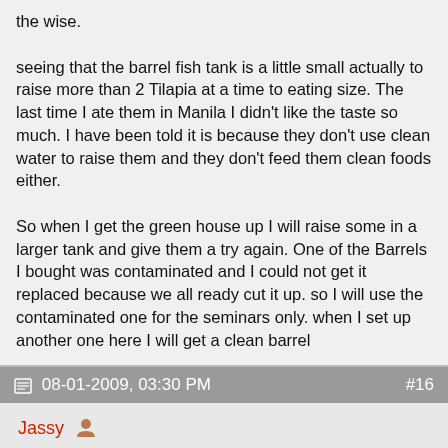the wise.

seeing that the barrel fish tank is a little small actually to raise more than 2 Tilapia at a time to eating size. The last time I ate them in Manila I didn't like the taste so much. I have been told it is because they don't use clean water to raise them and they don't feed them clean foods either.

So when I get the green house up I will raise some in a larger tank and give them a try again. One of the Barrels I bought was contaminated and I could not get it replaced because we all ready cut it up. so I will use the contaminated one for the seminars only. when I set up another one here I will get a clean barrel
08-01-2009, 03:30 PM   #16
Jassy
Quote:
Originally Posted by chette777